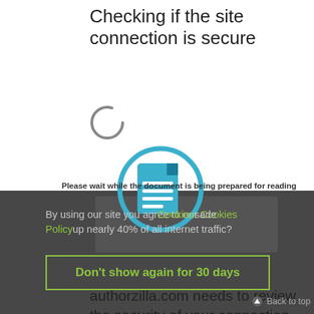Checking if the site connection is secure
[Figure (screenshot): Loading spinner (circular arc, gray)]
[Figure (screenshot): Document icon inside a teal/blue circle]
authorzilla.com needs to review the security of your connection before proceeding.
Please wait while the document is being prepared for reading
By using our site you agree to our Cookies Policy
Did you know cookies made up nearly 40% of all internet traffic?
Don't show again for 30 days
Back to top